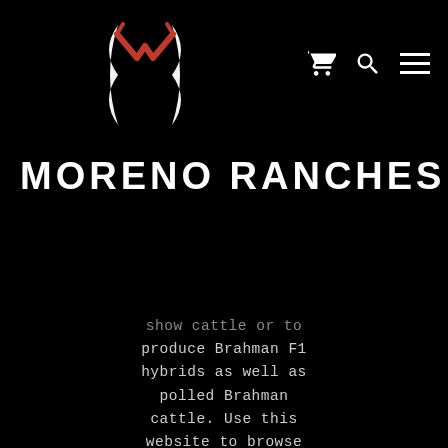[Figure (logo): Moreno Ranches logo: white parentheses-like horns with a red checkmark/M shape on top, on black background]
MORENO RANCHES
show cattle or to produce Brahman F1 hybrids as well as polled Brahman cattle. Use this website to browse our stock, or reach out to us for a friendly phone call. We are your trusted source of Brahman cattle for sale in Texas. Follow us on Facebook, Instagram, Twitter, YouTube, and Google+ to Bri...